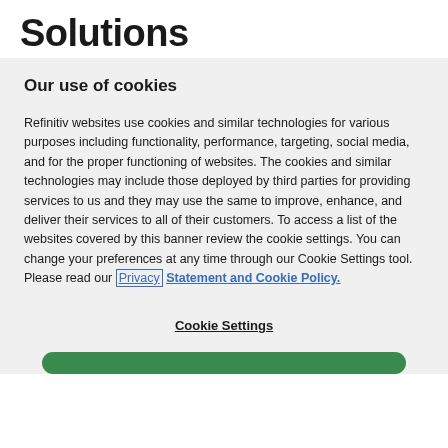Solutions
Our use of cookies
Refinitiv websites use cookies and similar technologies for various purposes including functionality, performance, targeting, social media, and for the proper functioning of websites. The cookies and similar technologies may include those deployed by third parties for providing services to us and they may use the same to improve, enhance, and deliver their services to all of their customers. To access a list of the websites covered by this banner review the cookie settings. You can change your preferences at any time through our Cookie Settings tool. Please read our Privacy Statement and Cookie Policy.
Cookie Settings
[Figure (other): Green rounded button bar at the bottom of the page]